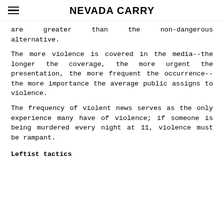NEVADA CARRY
are greater than the non-dangerous alternative.
The more violence is covered in the media--the longer the coverage, the more urgent the presentation, the more frequent the occurrence--the more importance the average public assigns to violence.
The frequency of violent news serves as the only experience many have of violence; if someone is being murdered every night at 11, violence must be rampant.
Leftist tactics